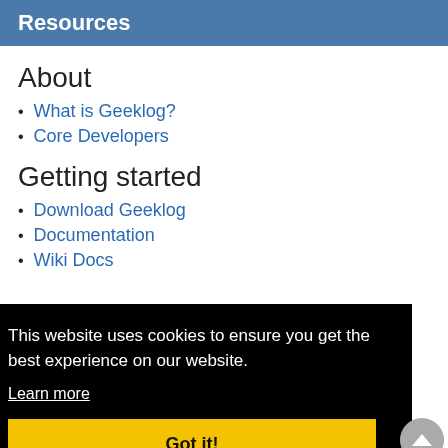Resources
About
What is Geeklog?
Core Developers
Getting started
Download Geeklog
Documentation
Wiki Docs
This website uses cookies to ensure you get the best experience on our website.
Learn more
Got it!